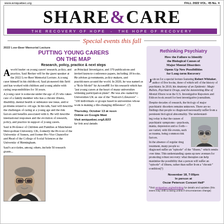www.amiquebec.org | FALL 2022 VOL. 45 No. 4
SHARE & CARE
THE RECOVERY OF HOPE - THE HOPE OF RECOVERY
Special events this fall
2022 Low-Beer Memorial Lecture
PUTTING YOUNG CARERS ON THE MAP
Research, policy, practice & next steps
[Figure (photo): Portrait photo of Saul Becker, a man with glasses and grey beard]
A world leader on young carers' research, policy, and practice, Saul Becker will be the guest speaker at the 2022 Low-Beer Memorial Lecture. A young carer himself in his childhood, Saul pioneered this field and has worked with children and young adults with caring responsibilities for 30 years.

A young carer is someone under the age of 25 who takes care of a family member who has a chronic illness, disability, mental health or substance use issue, and/or problems related to old age. In his talk, Saul will describe the challenges of caring at a young age and the risk factors and benefits associated with it. He will describe international responses and the evolution of research, policy, and practice in support of young carers.

Saul is Professor of Children and Families at Manchester Metropolitan University, UK, formerly the Provost of the University of Sussex, and former Pro-Vice Chancellor and Head of the College of Social Sciences at the University of Birmingham.

Saul's accolades, among others, include 50 research grants...
as Principal Investigator, and 370 publications and invited keynote conference papers, including 18 books. He advises governments, policy makers, and practitioners around the world. In 2020, he was named as a "Role Model" by AccessHE for his research which has "put young carers at the heart of many universities widening participation plans". He was also named by Universities UK as one of the "Nation's Lifesavers" – "100 individuals or groups based in universities whose work is making a life-changing difference". (?)
Thursday, October 13 at noon
Online on Google Meet
Visit amiquebec.org/LB22
for link and details
Rethinking Psychiatry
How the Failure to Identify the Biological Causes of Major Mental Disorders Opens Up New Possibilities for Long-term Recovery
Join us for a special lecture featuring Robert Whitaker, author of five books, three of which tell of the history of psychiatry. In 2010, his Anatomy of an Epidemic: Magic Bullets, Psychiatric Drugs, and the Astonishing Rise of Mental Illness won the U.S. Investigative Reporters and Editors book award for best investigative journalism.

Despite decades of research, the biology of major psychiatric disorders remains unknown. There are no findings that people so diagnosed necessarily suffer from a persistent biological abnormality. The understanding today is that the causes of psychiatric symptoms—psychosis, mania, depression and so forth—are varied, with life events, such as trauma, being common risk factors.

In the absence of regular drug treatment, many people so diagnosed suffer an "episode" of the "illness," which remits over time. This understanding opens up new avenues for promoting robust recovery: what therapies can help maximise the possibility that a person will suffer an "episode" of illness, rather than suffer from a "chronic" condition(?)
[Figure (photo): Portrait photo of Robert Whitaker, a man with glasses and grey hair]
November 18, 7:00pm
In person at
Oscar Peterson Concert Hall*
*Visit amiquebec.org/rethinking for details and updates (this event may shift to being online if circumstances change)